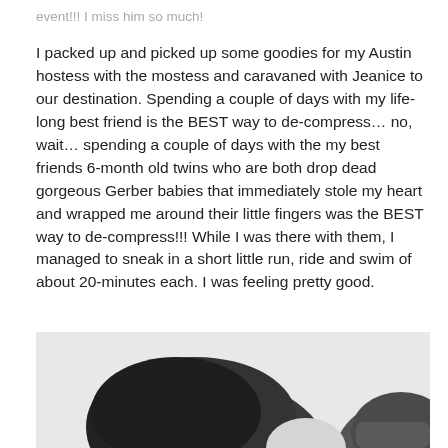event!!! I miss him so much!
I packed up and picked up some goodies for my Austin hostess with the mostess and caravaned with Jeanice to our destination. Spending a couple of days with my life-long best friend is the BEST way to de-compress… no, wait… spending a couple of days with the my best friends 6-month old twins who are both drop dead gorgeous Gerber babies that immediately stole my heart and wrapped me around their little fingers was the BEST way to de-compress!!! While I was there with them, I managed to sneak in a short little run, ride and swim of about 20-minutes each. I was feeling pretty good.
[Figure (photo): Black and white photograph showing the back of a person with large curly hair on the left, and another person visible in profile on the right side of the frame.]